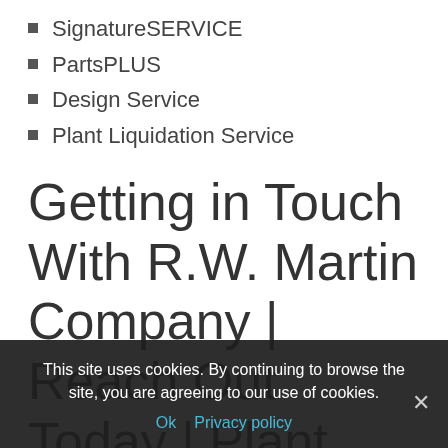SignatureSERVICE
PartsPLUS
Design Service
Plant Liquidation Service
Getting in Touch With R.W. Martin Company | Reach Out Today | Plant Liquidation | Industry Machinery
Contact the professionals at R.W. Martin Company
This site uses cookies. By continuing to browse the site, you are agreeing to our use of cookies.
Ok  Privacy policy